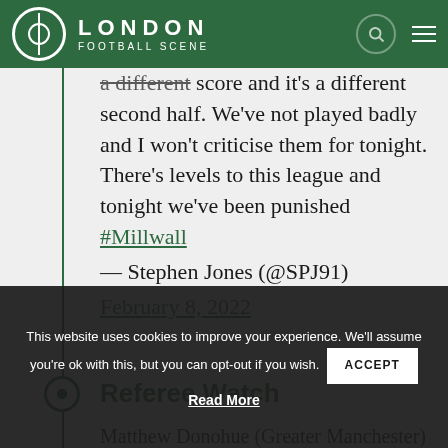LONDON FOOTBALL SCENE
a different second half. We've not played badly and I won't criticise them for tonight. There's levels to this league and tonight we've been punished #Millwall — Stephen Jones (@SPJ91) February 8, 2022
Referee Watch
Matthew Donohue (Greater Manchester) – quick to go to his pocket on a number of occasions for what looked like dubious yellow cards.
This website uses cookies to improve your experience. We'll assume you're ok with this, but you can opt-out if you wish. ACCEPT Read More
Atmosphere